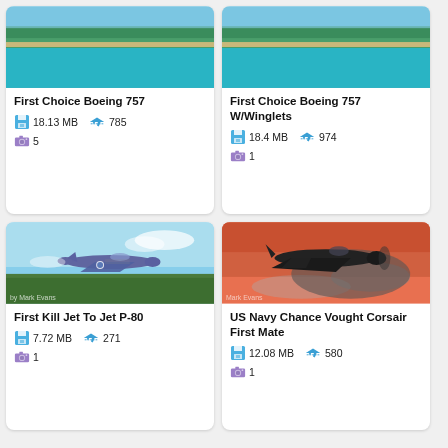[Figure (screenshot): Aerial view of coastline with turquoise water - First Choice Boeing 757 card thumbnail]
First Choice Boeing 757
18.13 MB  785  5
[Figure (screenshot): Aerial view of coastline with turquoise water - First Choice Boeing 757 W/Winglets card thumbnail]
First Choice Boeing 757 W/Winglets
18.4 MB  974  1
[Figure (photo): P-80 jet aircraft with FT-490 markings flying over green landscape]
First Kill Jet To Jet P-80
7.72 MB  271  1
[Figure (photo): US Navy Chance Vought Corsair aircraft flying at dusk/sunset with pinkish sky]
US Navy Chance Vought Corsair First Mate
12.08 MB  580  1